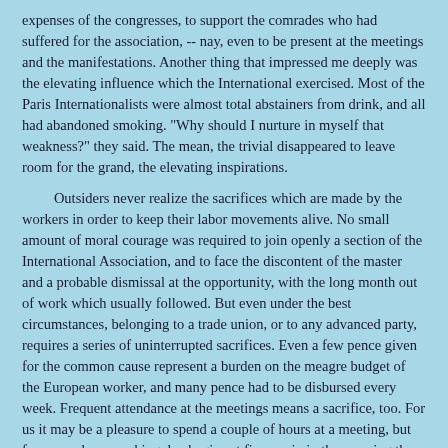expenses of the congresses, to support the comrades who had suffered for the association, -- nay, even to be present at the meetings and the manifestations. Another thing that impressed me deeply was the elevating influence which the International exercised. Most of the Paris Internationalists were almost total abstainers from drink, and all had abandoned smoking. "Why should I nurture in myself that weakness?" they said. The mean, the trivial disappeared to leave room for the grand, the elevating inspirations.
Outsiders never realize the sacrifices which are made by the workers in order to keep their labor movements alive. No small amount of moral courage was required to join openly a section of the International Association, and to face the discontent of the master and a probable dismissal at the opportunity, with the long month out of work which usually followed. But even under the best circumstances, belonging to a trade union, or to any advanced party, requires a series of uninterrupted sacrifices. Even a few pence given for the common cause represent a burden on the meagre budget of the European worker, and many pence had to be disbursed every week. Frequent attendance at the meetings means a sacrifice, too. For us it may be a pleasure to spend a couple of hours at a meeting, but for men whose working day begins at five or six in the morning those hours have to be stolen from necessary rest.